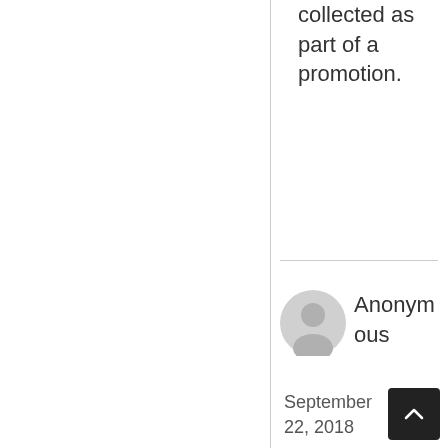collected as part of a promotion.
[Figure (illustration): Anonymous user avatar icon in light gray]
Anonymous
September 22, 2018